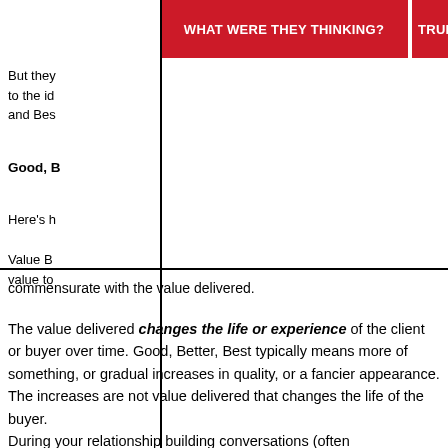[Figure (other): Red banner with white bold text reading WHAT WERE THEY THINKING?]
[Figure (other): Red banner with white bold text reading TRUE G (partially visible)]
But they [text cut off]
to the id [text cut off]
and Bes [text cut off]
Good, B [text cut off]
Here's h [text cut off]
Value B [text cut off]
value to [text cut off]
commensurate with the value delivered.
The value delivered changes the life or experience of the client or buyer over time. Good, Better, Best typically means more of something, or gradual increases in quality, or a fancier appearance. The increases are not value delivered that changes the life of the buyer.
During your relationship building conversations (often